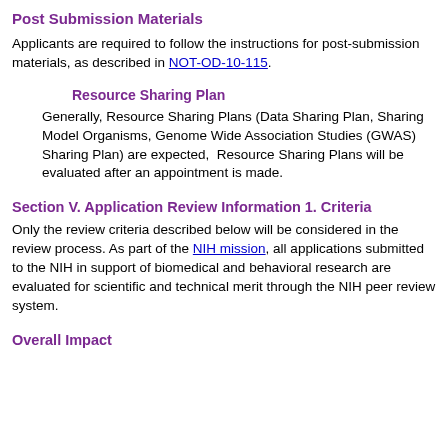Post Submission Materials
Applicants are required to follow the instructions for post-submission materials, as described in NOT-OD-10-115.
Resource Sharing Plan
Generally, Resource Sharing Plans (Data Sharing Plan, Sharing Model Organisms, Genome Wide Association Studies (GWAS) Sharing Plan) are expected,  Resource Sharing Plans will be evaluated after an appointment is made.
Section V. Application Review Information
1. Criteria
Only the review criteria described below will be considered in the review process. As part of the NIH mission, all applications submitted to the NIH in support of biomedical and behavioral research are evaluated for scientific and technical merit through the NIH peer review system.
Overall Impact